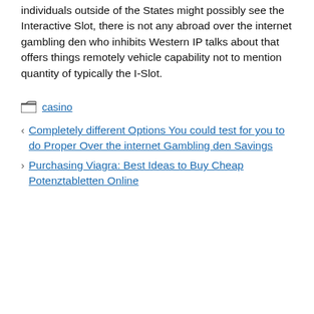individuals outside of the States might possibly see the Interactive Slot, there is not any abroad over the internet gambling den who inhibits Western IP talks about that offers things remotely vehicle capability not to mention quantity of typically the I-Slot.
casino
Completely different Options You could test for you to do Proper Over the internet Gambling den Savings
Purchasing Viagra: Best Ideas to Buy Cheap Potenztabletten Online